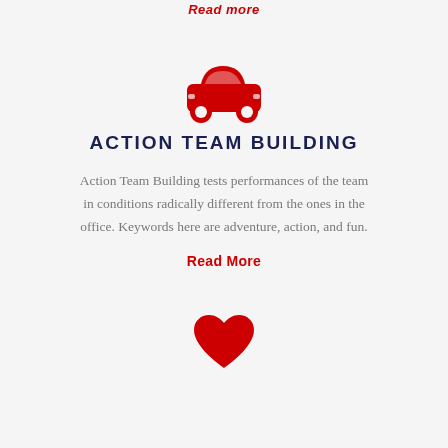Read more
[Figure (illustration): Red car icon (front-facing silhouette)]
ACTION TEAM BUILDING
Action Team Building tests performances of the team in conditions radically different from the ones in the office. Keywords here are adventure, action, and fun.
Read More
[Figure (illustration): Red heart icon]